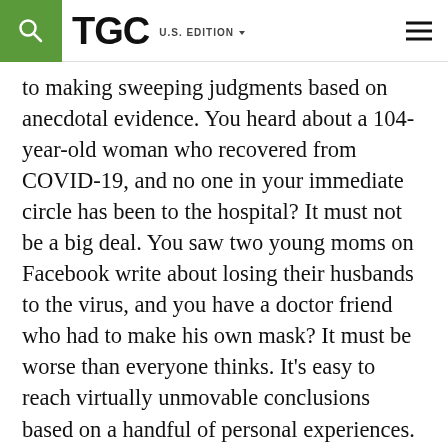TGC U.S. EDITION
to making sweeping judgments based on anecdotal evidence. You heard about a 104-year-old woman who recovered from COVID-19, and no one in your immediate circle has been to the hospital? It must not be a big deal. You saw two young moms on Facebook write about losing their husbands to the virus, and you have a doctor friend who had to make his own mask? It must be worse than everyone thinks. It’s easy to reach virtually unmovable conclusions based on a handful of personal experiences.
So what’s the takeaway when everything is